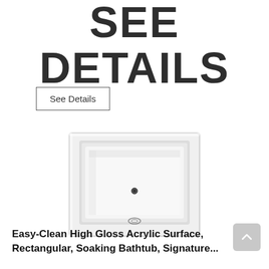SEE DETAILS
See Details
[Figure (photo): Top-down view of a white rectangular soaking bathtub with chrome drain fixtures]
Easy-Clean High Gloss Acrylic Surface, Rectangular, Soaking Bathtub, Signature...